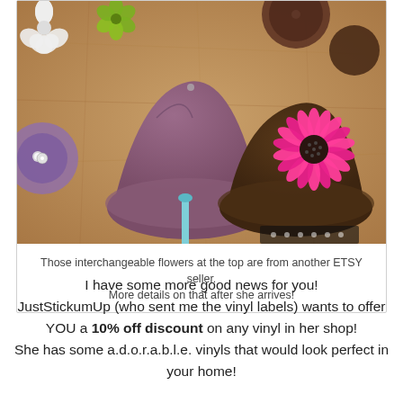[Figure (photo): Photo of crocheted hats and interchangeable flowers on a cork board background. A purple crocheted hat is in the center, a brown crocheted hat with a bright pink gerbera daisy flower is on the right. Small crocheted flowers (white, green, brown, purple) are scattered around. A light blue crochet hook is visible at the bottom.]
Those interchangeable flowers at the top are from another ETSY seller. More details on that after she arrives!
I have some more good news for you! JustStickumUp (who sent me the vinyl labels) wants to offer YOU a 10% off discount on any vinyl in her shop! She has some a.d.o.r.a.b.l.e. vinyls that would look perfect in your home!